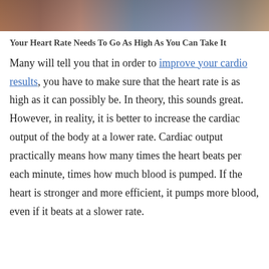[Figure (photo): Partial view of a person or people in an indoor setting, cropped at top of page]
Your Heart Rate Needs To Go As High As You Can Take It
Many will tell you that in order to improve your cardio results, you have to make sure that the heart rate is as high as it can possibly be. In theory, this sounds great. However, in reality, it is better to increase the cardiac output of the body at a lower rate. Cardiac output practically means how many times the heart beats per each minute, times how much blood is pumped. If the heart is stronger and more efficient, it pumps more blood, even if it beats at a slower rate.